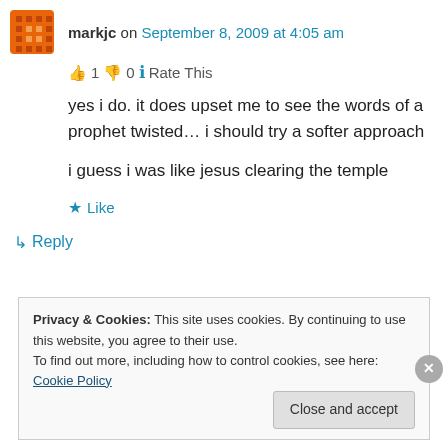markjc on September 8, 2009 at 4:05 am
👍 1 👎 0 ℹ Rate This
yes i do. it does upset me to see the words of a prophet twisted… i should try a softer approach

i guess i was like jesus clearing the temple
★ Like
↳ Reply
Privacy & Cookies: This site uses cookies. By continuing to use this website, you agree to their use.
To find out more, including how to control cookies, see here: Cookie Policy